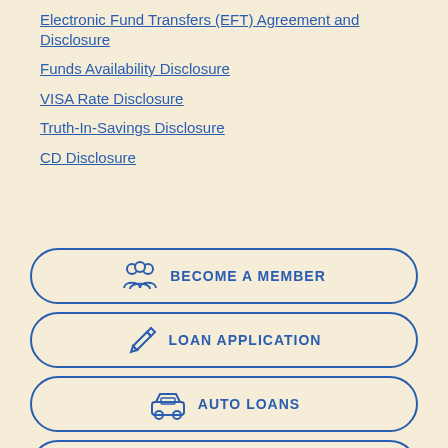Electronic Fund Transfers (EFT) Agreement and Disclosure
Funds Availability Disclosure
VISA Rate Disclosure
Truth-In-Savings Disclosure
CD Disclosure
[Figure (infographic): Button with people/group icon labeled BECOME A MEMBER]
[Figure (infographic): Button with pencil icon labeled LOAN APPLICATION]
[Figure (infographic): Button with car icon labeled AUTO LOANS]
[Figure (infographic): Button with house icon labeled MORTGAGES]